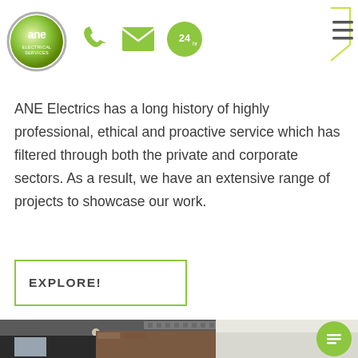[Figure (logo): ANE Electrics logo: circular green gradient badge with 'ane' text in white, grey border]
[Figure (infographic): Header navigation bar with phone icon, envelope icon, 24hr circle badge, and hamburger menu top right]
ANE Electrics has a long history of highly professional, ethical and proactive service which has filtered through both the private and corporate sectors. As a result, we have an extensive range of projects to showcase our work.
[Figure (infographic): EXPLORE! button with lime green rectangular border outline]
[Figure (photo): Modern kitchen interior with dark cabinetry, brick wall, white ceiling with ventilation, pendant lights, and stainless steel appliances. Green chat bubble icon overlaid bottom right.]